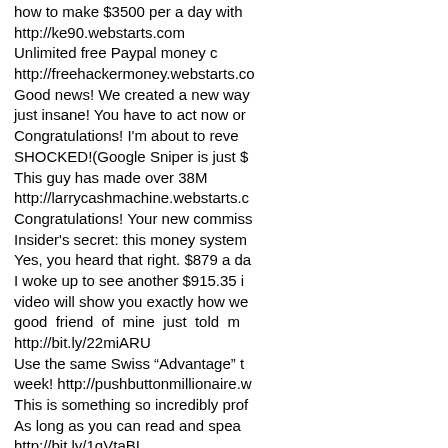how to make $3500 per a day with http://ke90.webstarts.com Unlimited free Paypal money c http://freehackermoney.webstarts.co Good news! We created a new way just insane! You have to act now or Congratulations! I'm about to reve SHOCKED!(Google Sniper is just $ This guy has made over 38M http://larrycashmachine.webstarts.c Congratulations! Your new commiss Insider's secret: this money system Yes, you heard that right. $879 a da I woke up to see another $915.35 i video will show you exactly how we good friend of mine just told m http://bit.ly/22miARU Use the same Swiss "Advantage" t week! http://pushbuttonmillionaire.w This is something so incredibly prof As long as you can read and spea http://bit.ly/1qVtaBI i went from getting $3 surveys to $5 MAKE £2500 PER each day WITH Have you ever wanted free